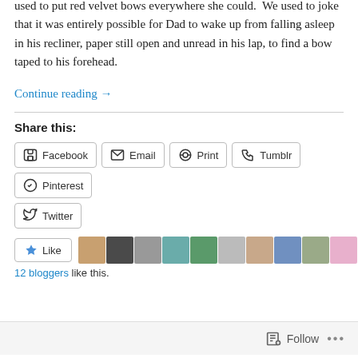used to put red velvet bows everywhere she could.  We used to joke that it was entirely possible for Dad to wake up from falling asleep in his recliner, paper still open and unread in his lap, to find a bow taped to his forehead.
Continue reading →
Share this:
Facebook | Email | Print | Tumblr | Pinterest | Twitter
Like
12 bloggers like this.
Follow ...